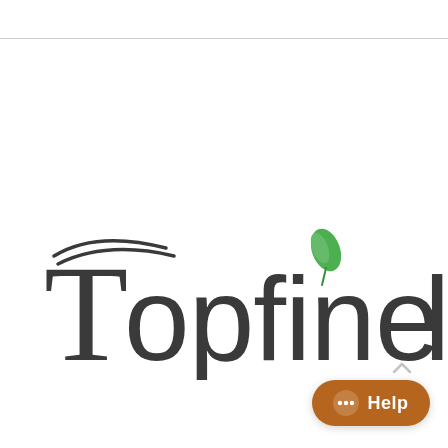[Figure (logo): Topfinel logo: stylized dark gray text reading 'Topfinel' with decorative curved lines above the 'T' and a green leaf sprouting above the letter 'i'. The 'l' is cut off at the right edge.]
[Figure (other): Brown/orange rounded pill-shaped Help button with three dots icon and 'Help' text in white, positioned bottom right.]